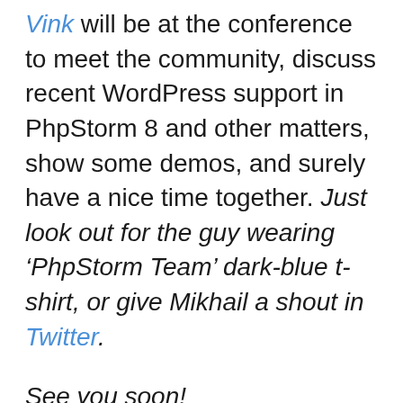Vink will be at the conference to meet the community, discuss recent WordPress support in PhpStorm 8 and other matters, show some demos, and surely have a nice time together. Just look out for the guy wearing ‘PhpStorm Team’ dark-blue t-shirt, or give Mikhail a shout in Twitter.
See you soon!
Keep up with the latest PhpStorm news on our blog and follow us on Twitter @phpstorm.
People with pleasure!